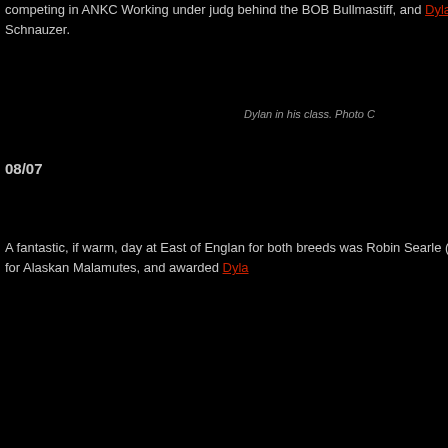competing in ANKC Working under judg... behind the BOB Bullmastiff, and Dylan pla... Schnauzer.
Dylan in his class. Photo C...
08/07
A fantastic, if warm, day at East of Englan... for both breeds was Robin Searle (Surlso... for Alaskan Malamutes, and awarded Dyla...